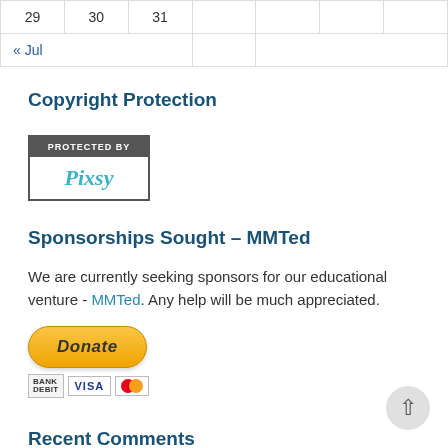|  |  |  |  |  |  |  |
| --- | --- | --- | --- | --- | --- | --- |
| 29 | 30 | 31 |  |  |  |  |
| « Jul |  |  |  |  |  |  |
Copyright Protection
[Figure (logo): Pixsy copyright protection badge with dark grey top bar reading 'PROTECTED BY' and white bottom with teal italic 'Pixsy' text]
Sponsorships Sought – MMTed
We are currently seeking sponsors for our educational venture - MMTed. Any help will be much appreciated.
[Figure (other): PayPal Donate button with payment icons: Bank, VISA, and Mastercard]
Recent Comments